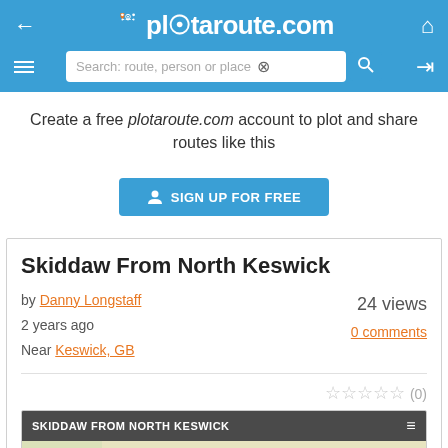plotaroute.com navigation header with search
Create a free plotaroute.com account to plot and share routes like this
SIGN UP FOR FREE
Skiddaw From North Keswick
by Danny Longstaff
2 years ago
Near Keswick, GB
24 views
0 comments
[Figure (map): Map preview of Skiddaw From North Keswick route showing terrain with blue route line, mountains markers, and water features]